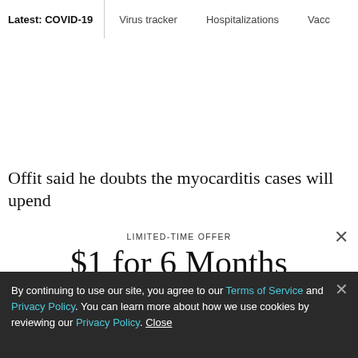Latest: COVID-19 | Virus tracker | Hospitalizations | Vacc
Offit said he doubts the myocarditis cases will upend
LIMITED-TIME OFFER
$1 for 6 Months
SUBSCRIBE NOW
By continuing to use our site, you agree to our Terms of Service and Privacy Policy. You can learn more about how we use cookies by reviewing our Privacy Policy. Close